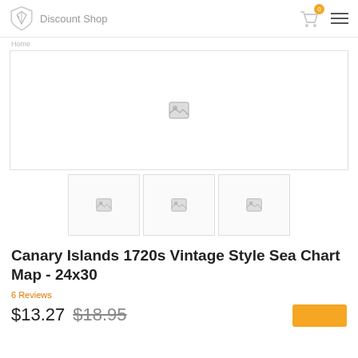Discount Shop
[Figure (screenshot): Main product image area — large white rectangle with placeholder image icon]
[Figure (screenshot): Three product thumbnail images in a row, each with a small placeholder icon]
Canary Islands 1720s Vintage Style Sea Chart Map - 24x30
6 Reviews
$13.27 $18.95